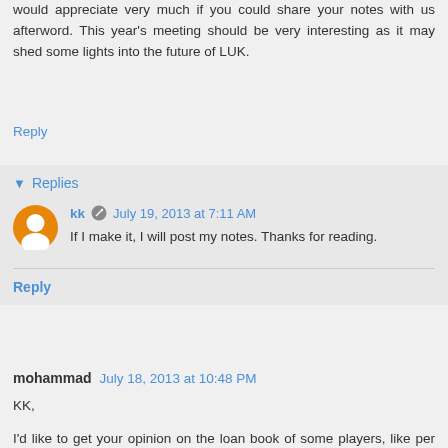would appreciate very much if you could share your notes with us afterword. This year's meeting should be very interesting as it may shed some lights into the future of LUK.
Reply
Replies
kk  July 19, 2013 at 7:11 AM
If I make it, I will post my notes. Thanks for reading.
Reply
mohammad  July 18, 2013 at 10:48 PM
KK,
I'd like to get your opinion on the loan book of some players, like per say JPM. One observation from the field which I'm noticing is obviously the ultra thin pricing on